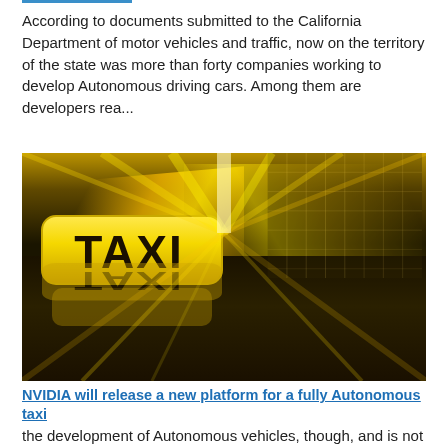According to documents submitted to the California Department of motor vehicles and traffic, now on the territory of the state was more than forty companies working to develop Autonomous driving cars. Among them are developers rea...
[Figure (photo): A yellow taxi cab sign illuminated against a dramatic tunnel background with yellow speed-blur light streaks, viewed from behind a car moving at high speed through the tunnel.]
NVIDIA will release a new platform for a fully Autonomous taxi
the development of Autonomous vehicles, though, and is not